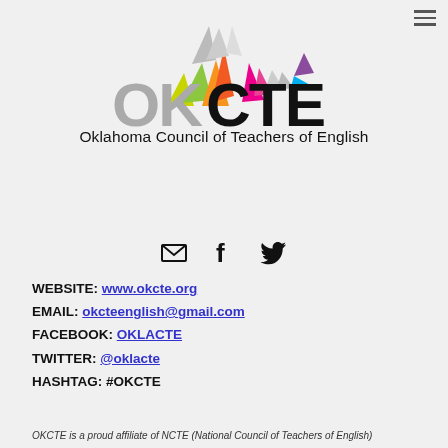[Figure (logo): OKCTE logo with colorful geometric triangle shapes above the text 'OK' in gray and 'CTE' in black]
Oklahoma Council of Teachers of English
[Figure (infographic): Three social media icons: envelope (email), f (Facebook), bird (Twitter)]
WEBSITE: www.okcte.org
EMAIL: okcteenglish@gmail.com
FACEBOOK: OKLACTE
TWITTER: @oklacte
HASHTAG: #OKCTE
OKCTE is a proud affiliate of NCTE (National Council of Teachers of English)